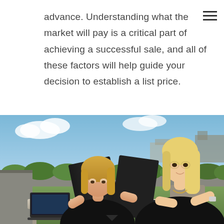advance. Understanding what the market will pay is a critical part of achieving a successful sale, and all of these factors will help guide your decision to establish a list price.
[Figure (photo): Two blonde women in black clothing sitting outdoors at a table, reviewing documents in a binder and a tablet, with an urban rooftop garden background and blue sky.]